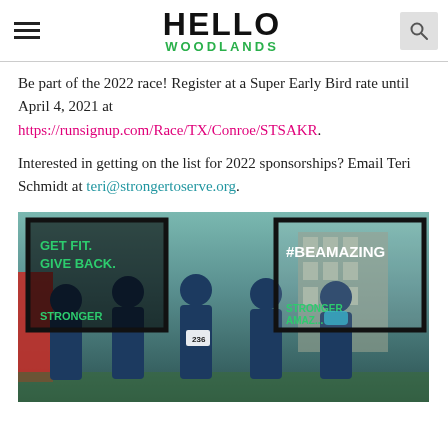Hello Woodlands
Be part of the 2022 race! Register at a Super Early Bird rate until April 4, 2021 at https://runsignup.com/Race/TX/Conroe/STSAKR.
Interested in getting on the list for 2022 sponsorships? Email Teri Schmidt at teri@strongertoserve.org.
[Figure (photo): Five women posing outdoors in navy t-shirts, two holding large picture frame props with text 'GET FIT. GIVE BACK.' and '#BEAMAZING'. One woman wears a blue face mask.]